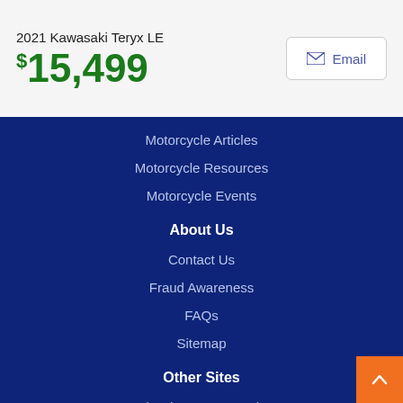2021 Kawasaki Teryx LE
$15,499
Email
Motorcycle Articles
Motorcycle Resources
Motorcycle Events
About Us
Contact Us
Fraud Awareness
FAQs
Sitemap
Other Sites
Classic Cars For Sale
RVs for Sale
Affiliates
Autotrader.com
Buy Here Pay Here Center